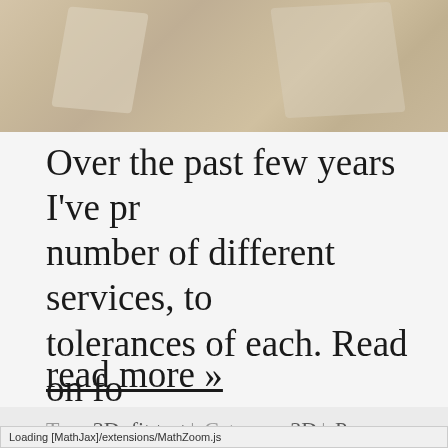[Figure (photo): Partial photo of plastic bags or packaging in beige/tan tones, cropped at top of page]
Over the past few years I've pr number of different services, to tolerances of each. Read on fo
read more »
Tags 3D, fit test | Category 3D | Pe
Loading [MathJax]/extensions/MathZoom.js